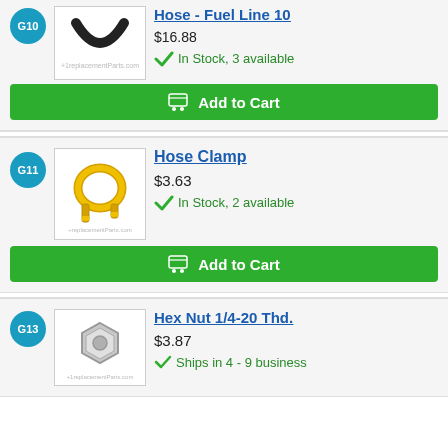[Figure (photo): Hose Fuel Line 10 part image - curved black hose ring]
Hose - Fuel Line 10
$16.88
In Stock, 3 available
Add to Cart
[Figure (photo): Hose Clamp part image - gold/yellow metal hose clamp]
Hose Clamp
$3.63
In Stock, 2 available
Add to Cart
[Figure (photo): Hex Nut 1/4-20 Thd. part image - silver hex nut]
Hex Nut 1/4-20 Thd.
$3.87
Ships in 4 - 9 business